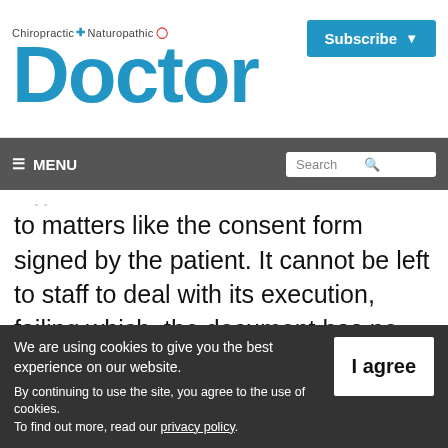Chiropractic + Naturopathic Doctor | Subscribe
≡ MENU | Search
to matters like the consent form signed by the patient. It cannot be left to staff to deal with its execution, failing which, the document has no substance or validity and may well be used contrary to its intended purpose.
We are using cookies to give you the best experience on our website. By continuing to use the site, you agree to the use of cookies. To find out more, read our privacy policy.